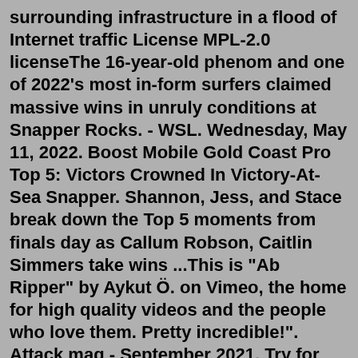surrounding infrastructure in a flood of Internet traffic License MPL-2.0 licenseThe 16-year-old phenom and one of 2022's most in-form surfers claimed massive wins in unruly conditions at Snapper Rocks. - WSL. Wednesday, May 11, 2022. Boost Mobile Gold Coast Pro Top 5: Victors Crowned In Victory-At-Sea Snapper. Shannon, Jess, and Stace break down the Top 5 moments from finals day as Callum Robson, Caitlin Simmers take wins ...This is "Ab Ripper" by Aykut Ö. on Vimeo, the home for high quality videos and the people who love them. Pretty incredible!". Attack mag - September 2021. Try for Free Buy RipX DeepRemix $99. World's leading audio separation & remix software that splits full-mix stereo MP3s, WAVs etc into vocals, drums, bass, and other instruments. DJs: Add stems to your set, balancing vocals and instrumentals to create perfect moments.FULL HD video & audio, 100% quality lossless. Download Now. For Windows XP/Vista/7/8/8.1/10. “ Leawo Blu-ray Ripper is the best all-in-one converter for Blu-ray and...